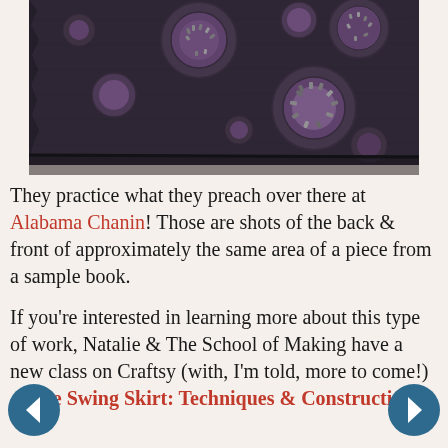[Figure (photo): Close-up photo of dark charcoal/black fabric with raised circular embroidered or appliquéd polka dot patterns, some with purple centers and metallic bead embellishments. The fabric edge is visible at the bottom, showing layered textile construction.]
They practice what they preach over there at Alabama Chanin! Those are shots of the back & front of approximately the same area of a piece from a sample book.
If you're interested in learning more about this type of work, Natalie & The School of Making have a new class on Craftsy (with, I'm told, more to come!) -- The Swing Skirt: Techniques & Construction.